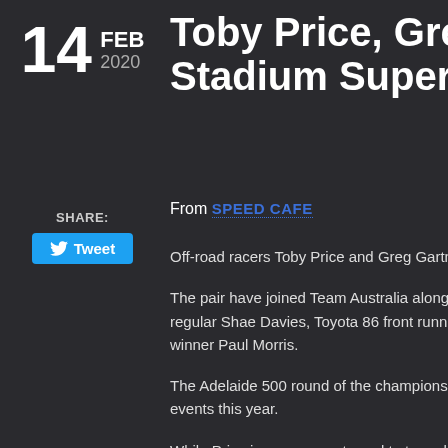14 FEB 2020
SHARE: Tweet
Toby Price, Greg G... Stadium Super Tr...
From SPEED CAFE
Off-road racers Toby Price and Greg Gartner will c... Stadium Super Truck Series at the Superloop Adel...
The pair have joined Team Australia alongside raci... regular Shae Davies, Toyota 86 front runner Luke Y... winner Paul Morris.
The Adelaide 500 round of the championship is the... events this year.
While Price is more accustomed to two wheels, the... with the Stadium Super Truck scene.
“I’m stoked to be back at Adelaide racing in the SS...